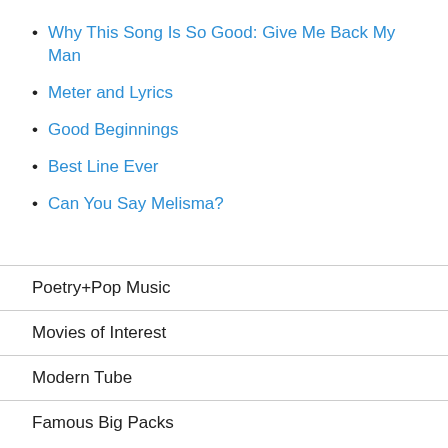Why This Song Is So Good: Give Me Back My Man
Meter and Lyrics
Good Beginnings
Best Line Ever
Can You Say Melisma?
Poetry+Pop Music
Movies of Interest
Modern Tube
Famous Big Packs